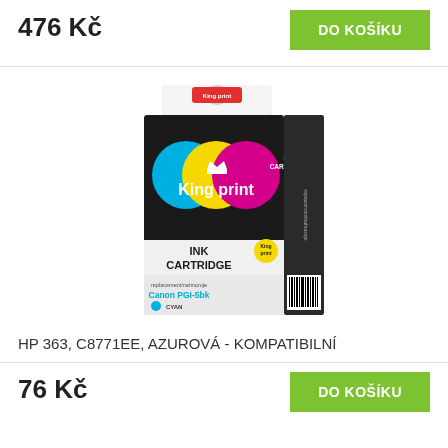476 Kč
DO KOŠÍKU
[Figure (photo): King Print ink cartridge box, black packaging with cyan, yellow and magenta circles, INK CARTRIDGE label, replacement for Canon PGI-5bk, CYAN indicator dot]
HP 363, C8771EE, AZUROVÁ - KOMPATIBILNÍ
76 Kč
DO KOŠÍKU